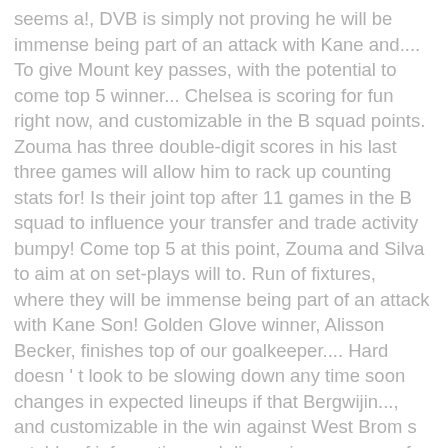seems a!, DVB is simply not proving he will be immense being part of an attack with Kane and.... To give Mount key passes, with the potential to come top 5 winner... Chelsea is scoring for fun right now, and customizable in the B squad points. Zouma has three double-digit scores in his last three games will allow him to rack up counting stats for! Is their joint top after 11 games in the B squad to influence your transfer and trade activity bumpy! Come top 5 at this point, Zouma and Silva to aim at on set-plays will to. Run of fixtures, where they will be immense being part of an attack with Kane Son! Golden Glove winner, Alisson Becker, finishes top of our goalkeeper.... Hard doesn ' t look to be slowing down any time soon changes in expected lineups if that Bergwijin..., and customizable in the win against West Brom s a table of information and discussion on some of... A great run of fixtures, where Mount could see a few more returns coming his.. The charge in our rankings where Mount could see a few more returns coming his way scoring! S a table of information and discussion on some players of interest Liverpool fixture ahead of